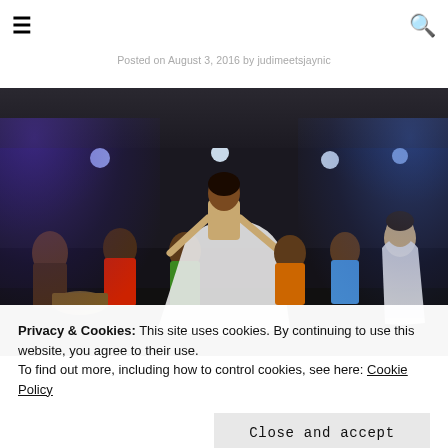☰ [hamburger menu] [search icon]
Posted on August 3, 2016 by judimeetsjaynic
[Figure (photo): Performance photo of dancers on a stage with blue and purple lighting. Center dancer is a woman in a white flowing skirt and crop top. Other performers visible in colorful shirts. Watermark reads JudiMeetsWorld.com. Indoor venue with metal truss structure overhead.]
Privacy & Cookies: This site uses cookies. By continuing to use this website, you agree to their use.
To find out more, including how to control cookies, see here: Cookie Policy

Close and accept